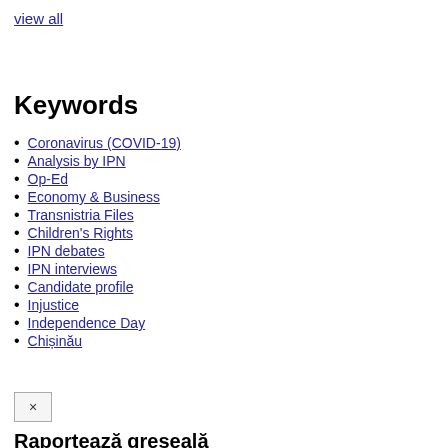view all
Keywords
Coronavirus (COVID-19)
Analysis by IPN
Op-Ed
Economy & Business
Transnistria Files
Children's Rights
IPN debates
IPN interviews
Candidate profile
Injustice
Independence Day
Chișinău
×
Raportează greșeală